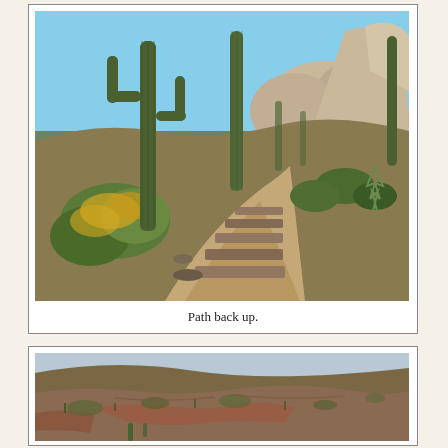[Figure (photo): Desert trail with stone steps leading upward, flanked by tall saguaro cacti, yellow flowering shrubs, and rocky boulders under a blue sky.]
Path back up.
[Figure (photo): Desert hillside landscape with sparse vegetation, reddish rocky terrain, and a distant saguaro cactus at the bottom edge.]